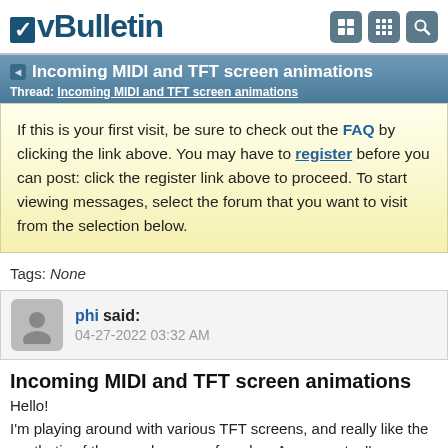vBulletin
Incoming MIDI and TFT screen animations
Thread: Incoming MIDI and TFT screen animations
If this is your first visit, be sure to check out the FAQ by clicking the link above. You may have to register before you can post: click the register link above to proceed. To start viewing messages, select the forum that you want to visit from the selection below.
Tags: None
phi said: 04-27-2022 03:32 AM
Incoming MIDI and TFT screen animations
Hello!
I'm playing around with various TFT screens, and really like the aesthetic of the round screens found on Amazon etc. I'm using 1.28" 240x240 GC9A01...